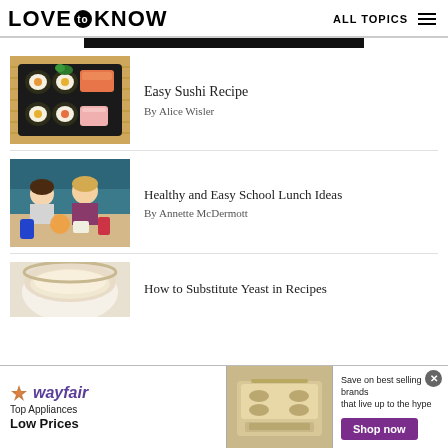LOVE to KNOW | ALL TOPICS
[Figure (photo): Black banner bar at top of content area]
[Figure (photo): Sushi platter with salmon rolls and sashimi on black tray]
Easy Sushi Recipe
By Alice Wisler
[Figure (photo): Two young girls eating lunch at school cafeteria]
Healthy and Easy School Lunch Ideas
By Annette McDermott
[Figure (photo): Bowl with creamy yeast substitute mixture]
How to Substitute Yeast in Recipes
[Figure (photo): Wayfair advertisement: Top Appliances Low Prices, Save on best selling brands that live up to the hype, Shop now]